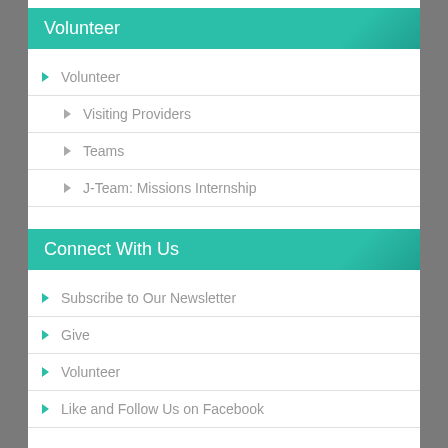Volunteer
Volunteer
Visiting Providers
Teams
J-Team: Missions Internship
Connect With Us
Subscribe to Our Newsletter
Give
Volunteer
Like and Follow Us on Facebook